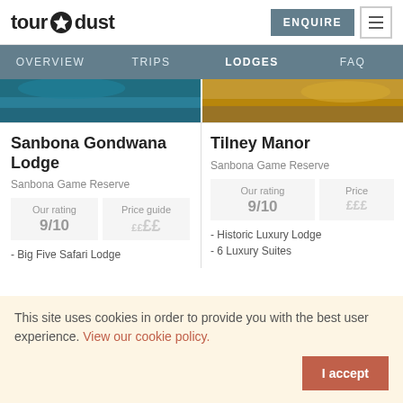tour dust — ENQUIRE | menu
OVERVIEW   TRIPS   LODGES   FAQ
[Figure (photo): Two landscape photos side by side — left: blue water/rocky scene; right: golden rocky/sandy landscape]
Sanbona Gondwana Lodge
Sanbona Game Reserve
Our rating 9/10 | Price guide ££££
- Big Five Safari Lodge
Tilney Manor
Sanbona Game Reserve
Our rating 9/10 | Price (££...)
- Historic Luxury Lodge
- 6 Luxury Suites
This site uses cookies in order to provide you with the best user experience. View our cookie policy.
I accept